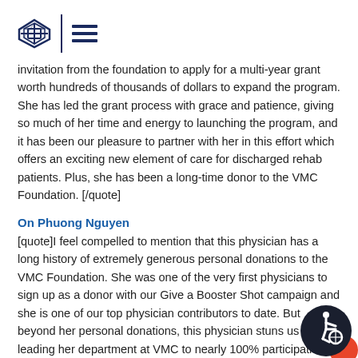VMC Foundation logo and navigation header
invitation from the foundation to apply for a multi-year grant worth hundreds of thousands of dollars to expand the program. She has led the grant process with grace and patience, giving so much of her time and energy to launching the program, and it has been our pleasure to partner with her in this effort which offers an exciting new element of care for discharged rehab patients. Plus, she has been a long-time donor to the VMC Foundation. [/quote]
On Phuong Nguyen
[quote]I feel compelled to mention that this physician has a long history of extremely generous personal donations to the VMC Foundation. She was one of the very first physicians to sign up as a donor with our Give a Booster Shot campaign and she is one of our top physician contributors to date. But beyond her personal donations, this physician stuns us by leading her department at VMC to nearly 100% participation in annual donations to the Foundation. She is consistently our champion and cheer both inside VMC and within the community. [/quote]
[Figure (logo): Accessibility icon badge — dark circle with wheelchair symbol and orange accent circle]